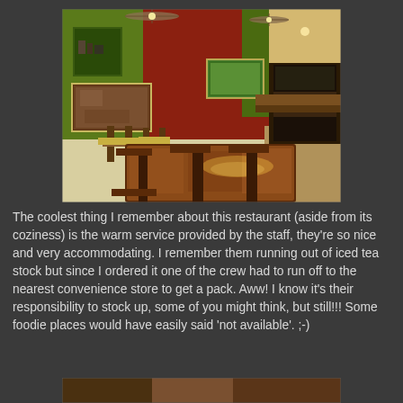[Figure (photo): Interior of a restaurant with green and red walls, wooden chairs and tables with a marble-topped table in the foreground, booth seating on the right, framed pictures on walls, ceiling fans and warm lighting.]
The coolest thing I remember about this restaurant (aside from its coziness) is the warm service provided by the staff, they're so nice and very accommodating. I remember them running out of iced tea stock but since I ordered it one of the crew had to run off to the nearest convenience store to get a pack. Aww! I know it's their responsibility to stock up, some of you might think, but still!!! Some foodie places would have easily said 'not available'. ;-)
[Figure (photo): Partial view of another restaurant photo at the bottom of the page, cropped.]